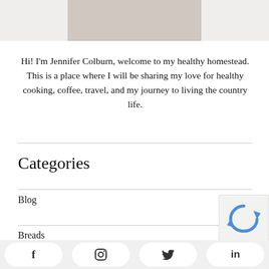[Figure (photo): Partial photo of a person visible at the top of the page, cropped]
Hi! I'm Jennifer Colburn, welcome to my healthy homestead. This is a place where I will be sharing my love for healthy cooking, coffee, travel, and my journey to living the country life.
Categories
Blog
Breads
Breakfast